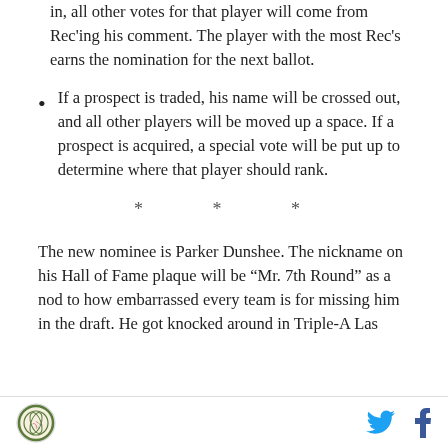After the first nomination for a player has been put in, all other votes for that player will come from Rec'ing his comment. The player with the most Rec's earns the nomination for the next ballot.
If a prospect is traded, his name will be crossed out, and all other players will be moved up a space. If a prospect is acquired, a special vote will be put up to determine where that player should rank.
* * *
The new nominee is Parker Dunshee. The nickname on his Hall of Fame plaque will be “Mr. 7th Round” as a nod to how embarrassed every team is for missing him in the draft. He got knocked around in Triple-A Las